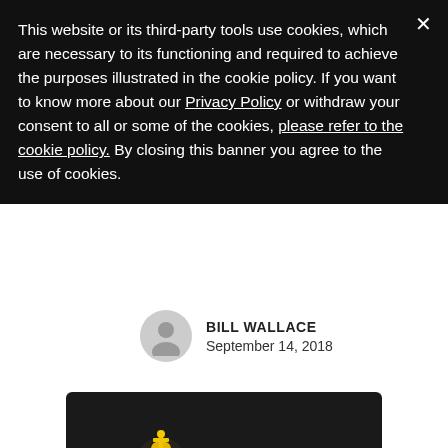This website or its third-party tools use cookies, which are necessary to its functioning and required to achieve the purposes illustrated in the cookie policy. If you want to know more about our Privacy Policy or withdraw your consent to all or some of the cookies, please refer to the cookie policy. By closing this banner you agree to the use of cookies.
BILL WALLACE
September 14, 2018
[Figure (photo): A golden chess king piece standing in front of a row of silver chess pieces on a chessboard, dark background.]